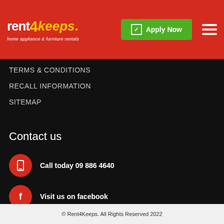[Figure (logo): Rent4Keeps logo — home appliance & furniture rentals — red background with white and yellow text]
Apply Now
TERMS & CONDITIONS
RECALL INFORMATION
SITEMAP
Contact us
Call today 09 886 4640
Visit us on facebook
© Rent4Keeps. All Rights Reserved 2022